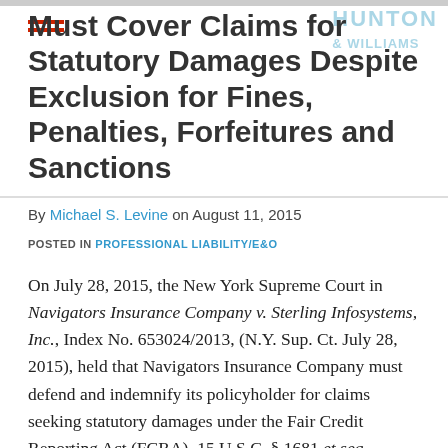Must Cover Claims for Statutory Damages Despite Exclusion for Fines, Penalties, Forfeitures and Sanctions
By Michael S. Levine on August 11, 2015
POSTED IN PROFESSIONAL LIABILITY/E&O
On July 28, 2015, the New York Supreme Court in Navigators Insurance Company v. Sterling Infosystems, Inc., Index No. 653024/2013, (N.Y. Sup. Ct. July 28, 2015), held that Navigators Insurance Company must defend and indemnify its policyholder for claims seeking statutory damages under the Fair Credit Reporting Act (FCRA), 15 U.S.C. § 1681 et seq., despite a policy exclusion for claims involving "[f]ines,